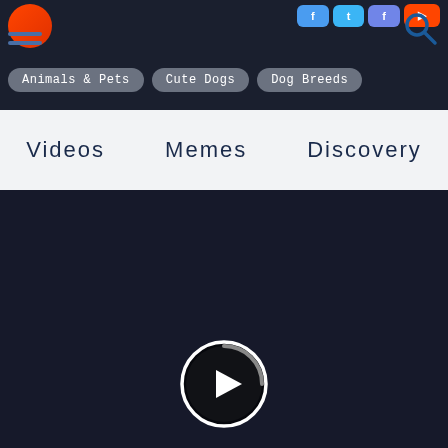Navigation bar with logo, hamburger menu, social buttons, search icon, tags: Animals & Pets, Cute Dogs, Dog Breeds
Videos   Memes   Discovery
[Figure (screenshot): Dark video player area with a circular play button in the center-bottom region]